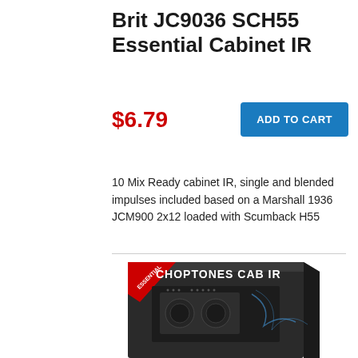Brit JC9036 SCH55 Essential Cabinet IR
$6.79
ADD TO CART
10 Mix Ready cabinet IR, single and blended impulses included based on a Marshall 1936 JCM900 2x12 loaded with Scumback H55
[Figure (photo): Product box for Choptones Cab IR Essential series, dark packaging with red banner and guitar cabinet image]